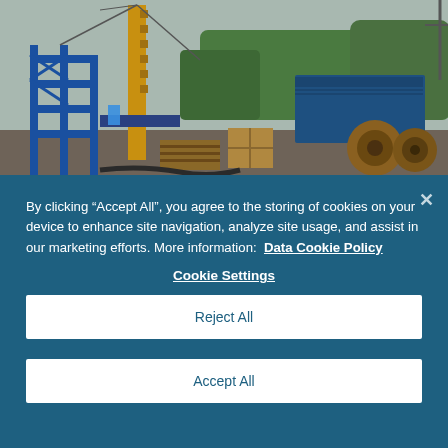[Figure (photo): Industrial drilling rig / well site with blue steel scaffolding, yellow drilling mast, workers in high-visibility gear, blue shipping containers, cable drums, pallets, and equipment on a gravel yard; green trees in background under overcast sky.]
By clicking “Accept All”, you agree to the storing of cookies on your device to enhance site navigation, analyze site usage, and assist in our marketing efforts. More information:  Data Cookie Policy
Cookie Settings
Reject All
Accept All